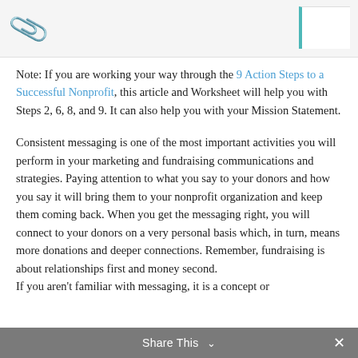[Figure (illustration): Top banner area with a paper clip/binder clip icon on the left and a white rectangle with teal left border on the right, on a light gray background]
Note: If you are working your way through the 9 Action Steps to a Successful Nonprofit, this article and Worksheet will help you with Steps 2, 6, 8, and 9. It can also help you with your Mission Statement.
Consistent messaging is one of the most important activities you will perform in your marketing and fundraising communications and strategies. Paying attention to what you say to your donors and how you say it will bring them to your nonprofit organization and keep them coming back. When you get the messaging right, you will connect to your donors on a very personal basis which, in turn, means more donations and deeper connections. Remember, fundraising is about relationships first and money second.
If you aren't familiar with messaging, it is a concept or
Share This